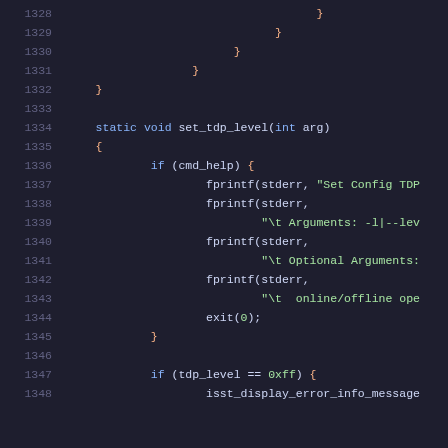Code listing lines 1328-1348 showing C source code with set_tdp_level function